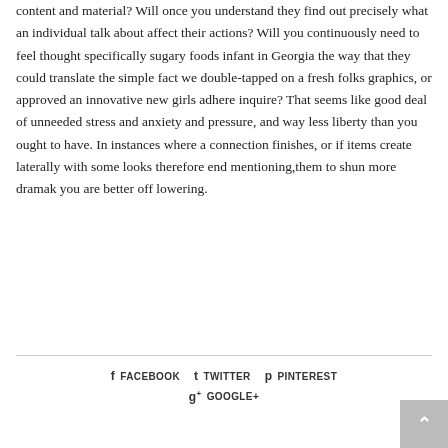content and material? Will once you understand they find out precisely what an individual talk about affect their actions? Will you continuously need to feel thought specifically sugary foods infant in Georgia the way that they could translate the simple fact we double-tapped on a fresh folks graphics, or approved an innovative new girls adhere inquire? That seems like good deal of unneeded stress and anxiety and pressure, and way less liberty than you ought to have. In instances where a connection finishes, or if items create laterally with some looks therefore end mentioning,them to shun more dramak you are better off lowering.
FACEBOOK   TWITTER   PINTEREST   GOOGLE+